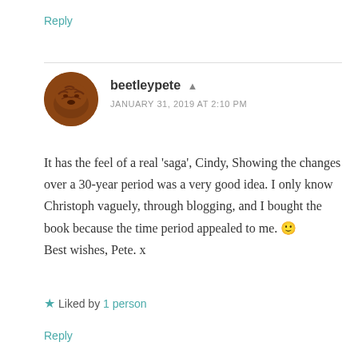Reply
beetleypete
JANUARY 31, 2019 AT 2:10 PM
It has the feel of a real 'saga', Cindy, Showing the changes over a 30-year period was a very good idea. I only know Christoph vaguely, through blogging, and I bought the book because the time period appealed to me. 🙂
Best wishes, Pete. x
★ Liked by 1 person
Reply